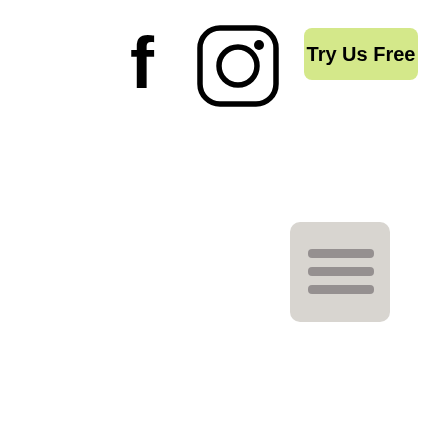[Figure (screenshot): A navigation bar area with a Facebook icon (f), an Instagram icon (circle with rounded square camera), a green-yellow 'Try Us Free' button, and a hamburger menu icon (three horizontal lines) on a light gray rounded square background.]